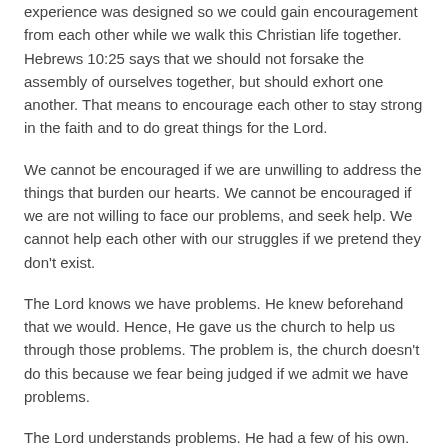experience was designed so we could gain encouragement from each other while we walk this Christian life together. Hebrews 10:25 says that we should not forsake the assembly of ourselves together, but should exhort one another. That means to encourage each other to stay strong in the faith and to do great things for the Lord.
We cannot be encouraged if we are unwilling to address the things that burden our hearts. We cannot be encouraged if we are not willing to face our problems, and seek help. We cannot help each other with our struggles if we pretend they don't exist.
The Lord knows we have problems. He knew beforehand that we would. Hence, He gave us the church to help us through those problems. The problem is, the church doesn't do this because we fear being judged if we admit we have problems.
The Lord understands problems. He had a few of his own. Hebrews 4:15-16 says:
For we have not an high priest which cannot be touched with